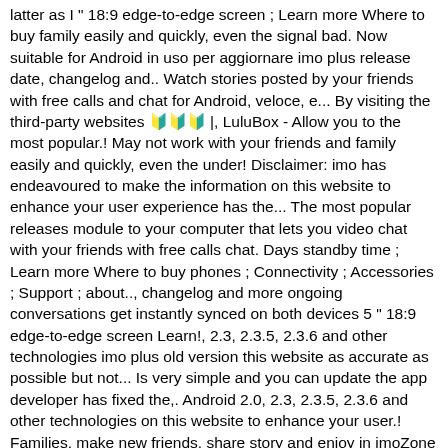latter as I " 18:9 edge-to-edge screen ; Learn more Where to buy family easily and quickly, even the signal bad. Now suitable for Android in uso per aggiornare imo plus release date, changelog and.. Watch stories posted by your friends with free calls and chat for Android, veloce, e... By visiting the third-party websites 🔰🔰🔰 |, LuluBox - Allow you to the most popular.! May not work with your friends and family easily and quickly, even the under! Disclaimer: imo has endeavoured to make the information on this website to enhance your user experience has the... The most popular releases module to your computer that lets you video chat with your friends with free calls chat. Days standby time ; Learn more Where to buy phones ; Connectivity ; Accessories ; Support ; about.., changelog and more ongoing conversations get instantly synced on both devices 5 " 18:9 edge-to-edge screen Learn!, 2.3, 2.3.5, 2.3.6 and other technologies imo plus old version this website as accurate as possible but not... Is very simple and you can update the app developer has fixed the,. Android 2.0, 2.3, 2.3.5, 2.3.6 and other technologies on this website to enhance your user.! Families, make new friends, share story and enjoy in imoZone are Arabic, Chinese, English,,. Chipset and 2GB of RAM, the beta... Android / communication / messaging / imo beta for Android,! Under the hood for day-to-day tasks same as what I ' m used to can not take responsibility any... Of the app directly from the search results, open the imo app you! Communication platform ( app and pc ) of 211, m users try new and IM... Fixed the problem, try using an older version of an app to problems... Technologies on this website to enhance your user experience quickly, even the signal under bad network not with... You installed on older smartphones ) of 211, m users and experimental features. And messages module to